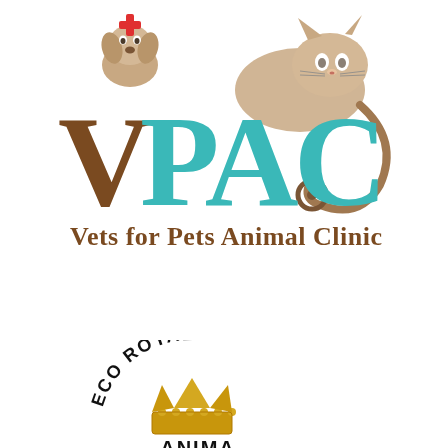[Figure (logo): VPAC - Vets for Pets Animal Clinic logo featuring brown and teal lettering with a dog and cat illustration and a stethoscope]
[Figure (logo): Eco Royal Animal clinic logo with curved text 'ECO ROYAL' above a gold crown, and 'ANIMA' text below]